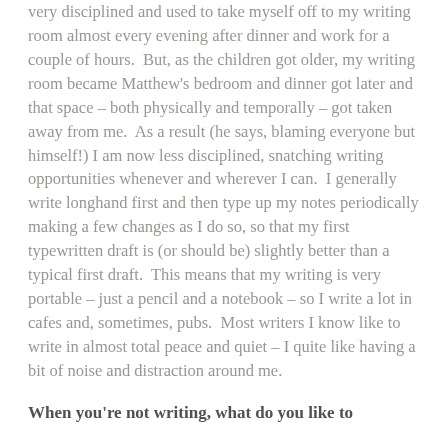very disciplined and used to take myself off to my writing room almost every evening after dinner and work for a couple of hours. But, as the children got older, my writing room became Matthew's bedroom and dinner got later and that space – both physically and temporally – got taken away from me. As a result (he says, blaming everyone but himself!) I am now less disciplined, snatching writing opportunities whenever and wherever I can. I generally write longhand first and then type up my notes periodically making a few changes as I do so, so that my first typewritten draft is (or should be) slightly better than a typical first draft. This means that my writing is very portable – just a pencil and a notebook – so I write a lot in cafes and, sometimes, pubs. Most writers I know like to write in almost total peace and quiet – I quite like having a bit of noise and distraction around me.
When you're not writing, what do you like to